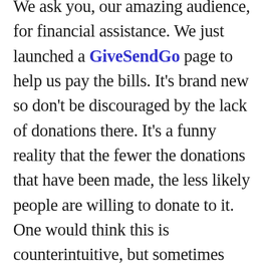We ask you, our amazing audience, for financial assistance. We just launched a GiveSendGo page to help us pay the bills. It's brand new so don't be discouraged by the lack of donations there. It's a funny reality that the fewer the donations that have been made, the less likely people are willing to donate to it. One would think this is counterintuitive, but sometimes people are skeptical because they think that perhaps there's a reason others haven't been donating. In our situation, we're just getting started so please don't be shy